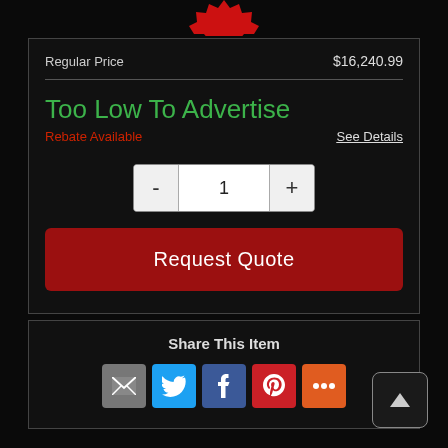[Figure (illustration): Red starburst badge partially visible at top center]
Regular Price   $16,240.99
Too Low To Advertise
Rebate Available
See Details
- 1 +
Request Quote
Share This Item
[Figure (infographic): Social share icons: email, Twitter, Facebook, Pinterest, More]